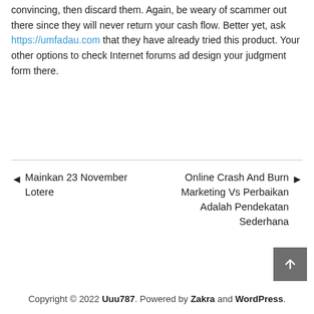convincing, then discard them. Again, be weary of scammer out there since they will never return your cash flow. Better yet, ask https://umfadau.com that they have already tried this product. Your other options to check Internet forums ad design your judgment form there.
◄ Mainkan 23 November Lotere    Online Crash And Burn Marketing Vs Perbaikan Adalah Pendekatan Sederhana ►
Copyright © 2022 Uuu787. Powered by Zakra and WordPress.